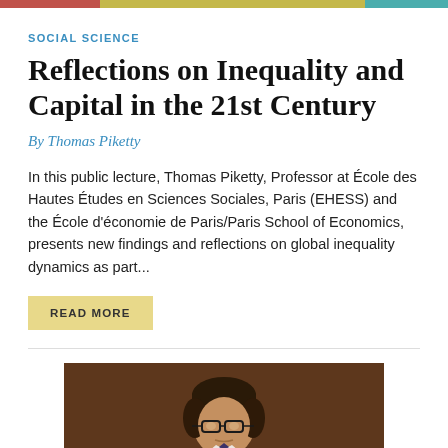[Figure (other): Decorative color bar with three segments: terracotta/red, yellow-green, and teal]
SOCIAL SCIENCE
Reflections on Inequality and Capital in the 21st Century
By Thomas Piketty
In this public lecture, Thomas Piketty, Professor at École des Hautes Études en Sciences Sociales, Paris (EHESS) and the École d'économie de Paris/Paris School of Economics, presents new findings and reflections on global inequality dynamics as part...
READ MORE
[Figure (photo): Photograph of Thomas Piketty, a man with dark hair and glasses, seated, photographed from chest up against a dark background]